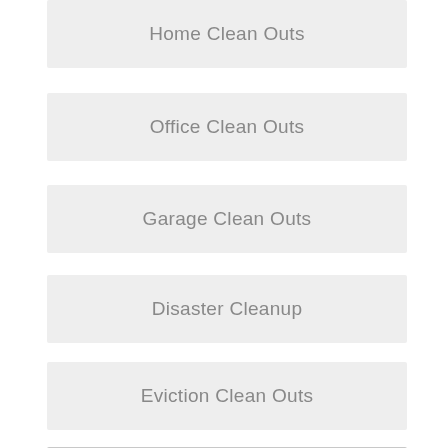Home Clean Outs
Office Clean Outs
Garage Clean Outs
Disaster Cleanup
Eviction Clean Outs
Foreclosure Clean Outs